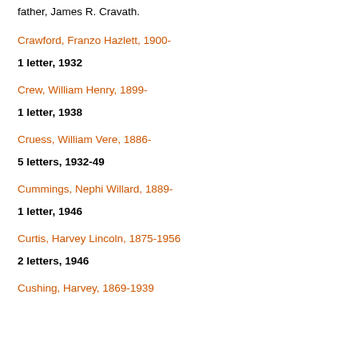father, James R. Cravath.
Crawford, Franzo Hazlett, 1900-
1 letter, 1932
Crew, William Henry, 1899-
1 letter, 1938
Cruess, William Vere, 1886-
5 letters, 1932-49
Cummings, Nephi Willard, 1889-
1 letter, 1946
Curtis, Harvey Lincoln, 1875-1956
2 letters, 1946
Cushing, Harvey, 1869-1939